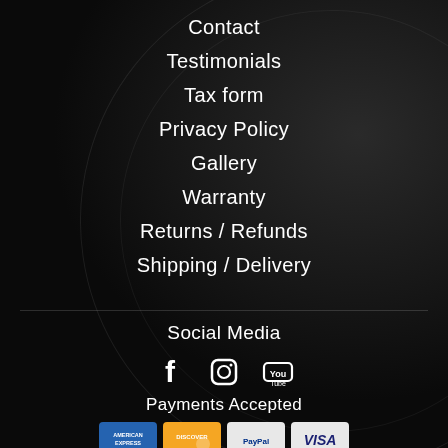Contact
Testimonials
Tax form
Privacy Policy
Gallery
Warranty
Returns / Refunds
Shipping / Delivery
Social Media
[Figure (infographic): Social media icons: Facebook, Instagram, YouTube]
Payments Accepted
[Figure (infographic): Payment method logos: American Express, Discover, PayPal, Visa]